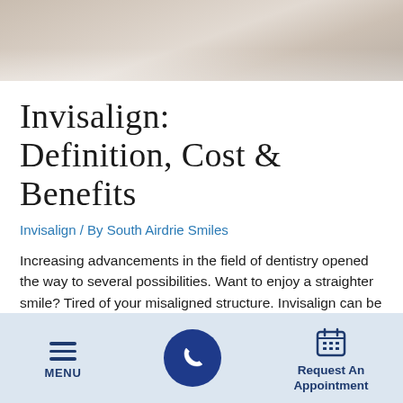[Figure (photo): Partial photo of hands or cloth, blurred/cropped, top portion of page]
Invisalign: Definition, Cost & Benefits
Invisalign / By South Airdrie Smiles
Increasing advancements in the field of dentistry opened the way to several possibilities. Want to enjoy a straighter smile? Tired of your misaligned structure. Invisalign can be the solution to all your problems. They come without the hassle of prickly
MENU | [phone button] | Request An Appointment